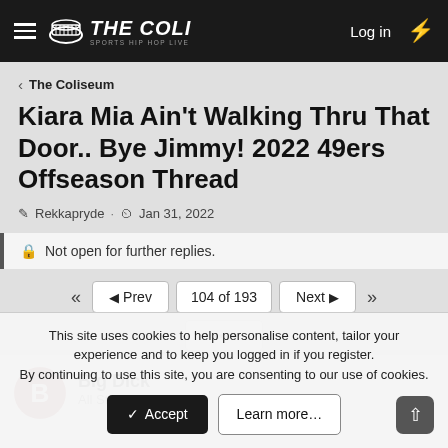THE COLI — Log in
< The Coliseum
Kiara Mia Ain't Walking Thru That Door.. Bye Jimmy! 2022 49ers Offseason Thread
Rekkapryde · Jan 31, 2022
Not open for further replies.
◄◄  ◄ Prev  104 of 193  Next ►  ►►
••• ▾
Big Dick
All Star
This site uses cookies to help personalise content, tailor your experience and to keep you logged in if you register.
By continuing to use this site, you are consenting to our use of cookies.
✓ Accept   Learn more…